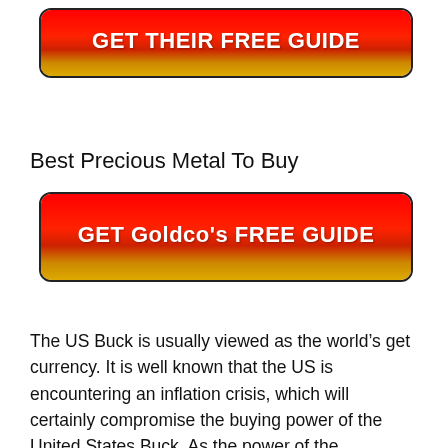[Figure (other): Red button with gradient from red to gold reading GET THEIR FREE GUIDE in white bold text]
Best Precious Metal To Buy
[Figure (other): Red button with gradient from red to gold reading GET Goldco's FREE GUIDE in white bold text]
The US Buck is usually viewed as the world’s get currency. It is well known that the US is encountering an inflation crisis, which will certainly compromise the buying power of the United States Buck. As the power of the